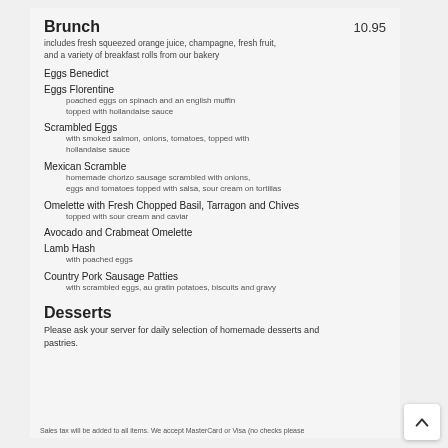Brunch   10.95
includes fresh squeezed orange juice, champagne, fresh fruit, and a variety of breakfast rolls from our bakery
Eggs Benedict
Eggs Florentine — poached eggs on spinach and an english muffin topped with hollandaise sauce
Scrambled Eggs — with smoked salmon, onions, tomatoes, topped with hollandaise sauce
Mexican Scramble — homemade chorizo sausage scrambled with onions, eggs and tomatoes topped with salsa, sour cream on tortillas
Omelette with Fresh Chopped Basil, Tarragon and Chives — topped with sour cream and caviar
Avocado and Crabmeat Omelette
Lamb Hash — with poached eggs
Country Pork Sausage Patties — with scrambled eggs, au gratin potatoes, biscuits and gravy
Desserts
Please ask your server for daily selection of homemade desserts and pastries.
Sales tax will be added to all items. We accept MasterCard or Visa (no checks please